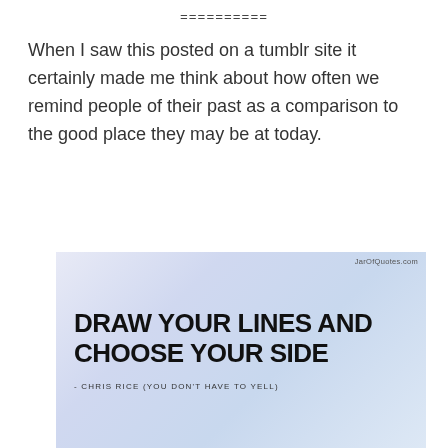==========
When I saw this posted on a tumblr site it certainly made me think about how often we remind people of their past as a comparison to the good place they may be at today.
[Figure (illustration): Quote image with gradient blue-lavender background. Large bold uppercase text reads 'DRAW YOUR LINES AND CHOOSE YOUR SIDE'. Attribution below reads '- CHRIS RICE (YOU DON'T HAVE TO YELL)'. Watermark 'JarOfQuotes.com' in top right corner.]